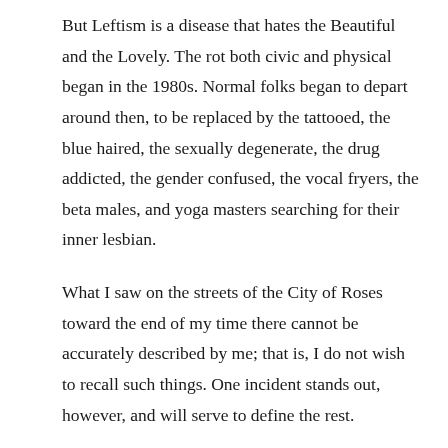But Leftism is a disease that hates the Beautiful and the Lovely. The rot both civic and physical began in the 1980s. Normal folks began to depart around then, to be replaced by the tattooed, the blue haired, the sexually degenerate, the drug addicted, the gender confused, the vocal fryers, the beta males, and yoga masters searching for their inner lesbian.
What I saw on the streets of the City of Roses toward the end of my time there cannot be accurately described by me; that is, I do not wish to recall such things. One incident stands out, however, and will serve to define the rest.
It was the summer of 1993 in downtown Portland. The city was having its annual ‘Gay Pride’ parade. The streets along the route of this event were packed with Portlanders eager to demonstrate their “progressiveness” to each other. I happened